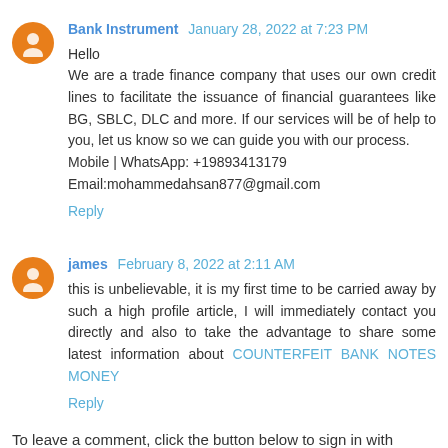Bank Instrument  January 28, 2022 at 7:23 PM
Hello
We are a trade finance company that uses our own credit lines to facilitate the issuance of financial guarantees like BG, SBLC, DLC and more. If our services will be of help to you, let us know so we can guide you with our process.
Mobile | WhatsApp: +19893413179
Email:mohammedahsan877@gmail.com
Reply
james  February 8, 2022 at 2:11 AM
this is unbelievable, it is my first time to be carried away by such a high profile article, I will immediately contact you directly and also to take the advantage to share some latest information about COUNTERFEIT BANK NOTES MONEY
Reply
To leave a comment, click the button below to sign in with Google.